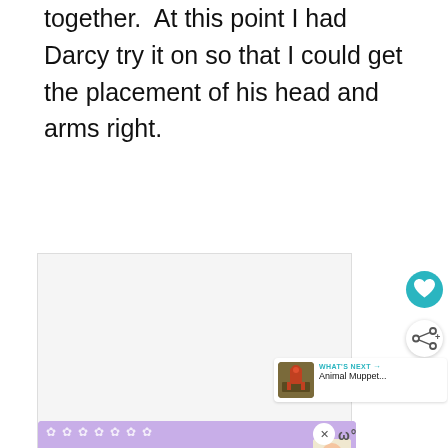together.  At this point I had Darcy try it on so that I could get the placement of his head and arms right.
[Figure (photo): A large placeholder image area (appears to be a photo or embedded content that did not load), shown as a light gray rectangle with three gray dots at the bottom indicating a loading or carousel state.]
[Figure (other): Heart (like/favorite) button — teal circular icon with a white heart symbol]
[Figure (other): Share button — white circular icon with share symbol]
[Figure (other): What's Next panel showing a thumbnail of an Animal Muppet with label 'WHAT'S NEXT →' and text 'Animal Muppet...']
[Figure (other): Advertisement banner with purple background reading 'STOP ASIAN HATE' in bold orange italic text with a cartoon character and floral decorations, with a close (×) button and a small logo to the right.]